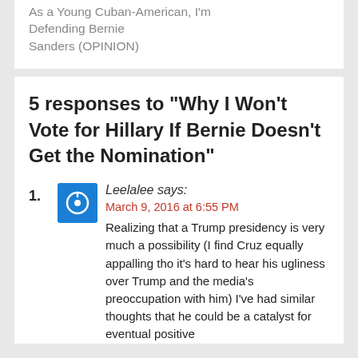As a Young Cuban-American, I'm Defending Bernie Sanders (OPINION)
5 responses to “Why I Won’t Vote for Hillary If Bernie Doesn’t Get the Nomination”
Leelalee says:
March 9, 2016 at 6:55 PM
Realizing that a Trump presidency is very much a possibility (I find Cruz equally appalling tho it’s hard to hear his ugliness over Trump and the media’s preoccupation with him) I’ve had similar thoughts that he could be a catalyst for eventual positive